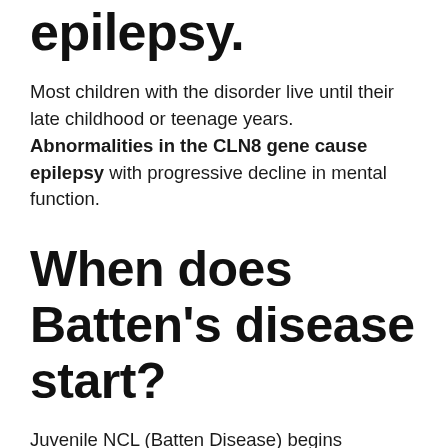epilepsy.
Most children with the disorder live until their late childhood or teenage years. Abnormalities in the CLN8 gene cause epilepsy with progressive decline in mental function.
When does Batten's disease start?
Juvenile NCL (Batten Disease) begins between the ages of 5 and 8. The typical early signs are progressive vision loss, seizures, ataxia or clumsiness. This form progresses less rapidly and ends in death in the late teens or early 20s, although some